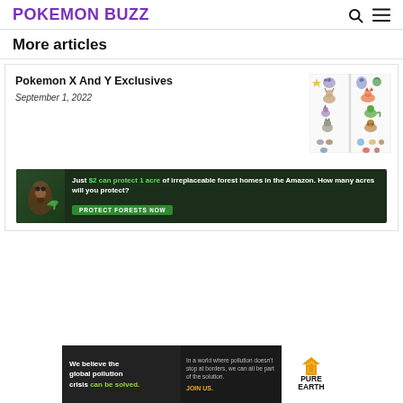POKEMON BUZZ
More articles
Pokemon X And Y Exclusives
September 1, 2022
[Figure (illustration): Grid of Pokemon X and Y exclusive Pokemon sprites arranged in two columns]
[Figure (photo): Advertisement banner: Just $2 can protect 1 acre of irreplaceable forest homes in the Amazon. How many acres will you protect? PROTECT FORESTS NOW]
[Figure (infographic): Pure Earth advertisement: We believe the global pollution crisis can be solved. In a world where pollution doesn't stop at borders, we can all be part of the solution. JOIN US.]